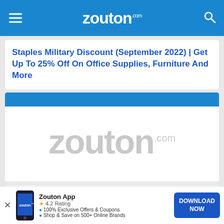zouton.com
Staples Military Discount (September 2022) | Get Up To 25% Off On Office Supplies, Furniture And More
[Figure (logo): Zouton.com logo watermark on white card background with blue header bar]
StubHub Coupon 15% Off | September 2022 | Save Significantly On All Online Ticket Bookings
[Figure (infographic): Zouton App download banner: app icon, 4.2 star rating, 100% Exclusive Offers & Coupons, Shop & Save on 500+ Online Brands, DOWNLOAD NOW button]